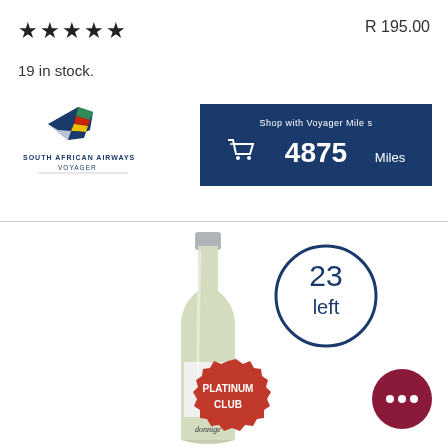★★★★★
R 195.00
19 in stock.
[Figure (logo): South African Airways Voyager logo with stylized tail fin]
[Figure (infographic): Dark blue box showing 'Shop with Voyager Miles' with shopping cart icon and '4875 Miles']
[Figure (photo): White wine bottle with label partially visible, showing 'donnige' text at bottom]
23 left
PLATINUM CLUB
[Figure (illustration): Dark red/maroon chat bubble icon with three dots]